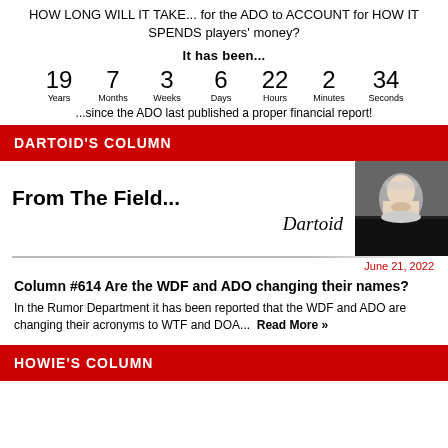HOW LONG WILL IT TAKE... for the ADO to ACCOUNT for HOW IT SPENDS players' money?
It has been...
19 Years  7 Months  3 Weeks  6 Days  22 Hours  2 Minutes  34 Seconds
...since the ADO last published a proper financial report!
DARTOID'S COLUMN
[Figure (illustration): From The Field... Dartoid column header with script signature and photo of bearded man]
June 21, 2022
Column #614 Are the WDF and ADO changing their names?
In the Rumor Department it has been reported that the WDF and ADO are changing their acronyms to WTF and DOA...  Read More »
HOWIE'S COLUMN